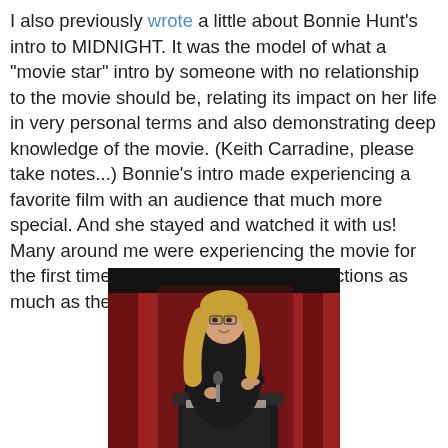I also previously wrote a little about Bonnie Hunt's intro to MIDNIGHT. It was the model of what a "movie star" intro by someone with no relationship to the movie should be, relating its impact on her life in very personal terms and also demonstrating deep knowledge of the movie. (Keith Carradine, please take notes...) Bonnie's intro made experiencing a favorite film with an audience that much more special. And she stayed and watched it with us! Many around me were experiencing the movie for the first time, and I delighted in their reactions as much as the movie itself.
[Figure (photo): A woman with glasses and long blonde hair wearing a black outfit, standing at a podium/lectern holding a microphone, in front of red curtains with a dark background. Appears to be at a film event or introduction.]